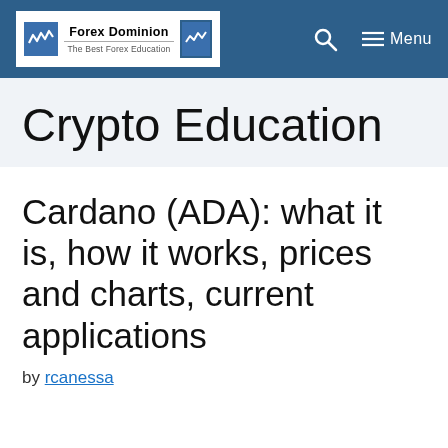Forex Dominion — The Best Forex Education
Crypto Education
Cardano (ADA): what it is, how it works, prices and charts, current applications
by rcanessa